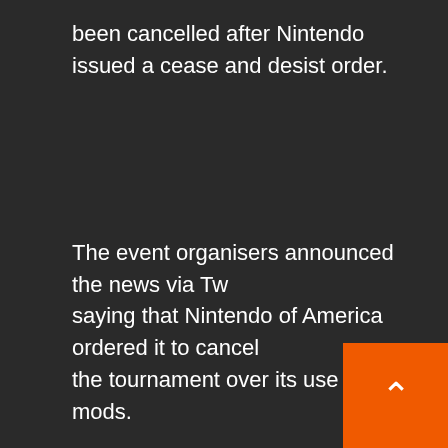been cancelled after Nintendo issued a cease and desist order.
The event organisers announced the news via Tw saying that Nintendo of America ordered it to cancel the tournament over its use of mods.